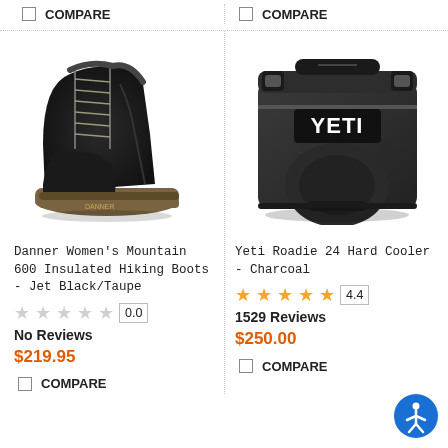COMPARE (top-left)
COMPARE (top-right)
[Figure (photo): Danner Women's Mountain 600 Insulated Hiking Boots in Jet Black/Taupe colorway, shown from the side]
[Figure (photo): Yeti Roadie 24 Hard Cooler in Charcoal color, front view showing the YETI logo]
Danner Women's Mountain 600 Insulated Hiking Boots - Jet Black/Taupe
Yeti Roadie 24 Hard Cooler - Charcoal
0.0 No Reviews $219.95
4.4 1529 Reviews $250.00
COMPARE (bottom-left)
COMPARE (bottom-right)